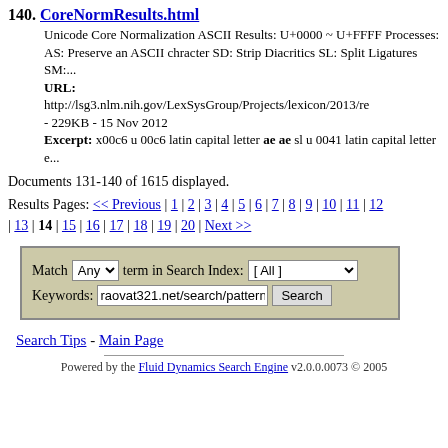140. CoreNormResults.html
Unicode Core Normalization ASCII Results: U+0000 ~ U+FFFF Processes: AS: Preserve an ASCII chracter SD: Strip Diacritics SL: Split Ligatures SM:...
URL: http://lsg3.nlm.nih.gov/LexSysGroup/Projects/lexicon/2013/re - 229KB - 15 Nov 2012
Excerpt: x00c6 u 00c6 latin capital letter ae ae sl u 0041 latin capital letter e...
Documents 131-140 of 1615 displayed.
Results Pages: << Previous | 1 | 2 | 3 | 4 | 5 | 6 | 7 | 8 | 9 | 10 | 11 | 12 | 13 | 14 | 15 | 16 | 17 | 18 | 19 | 20 | Next >>
[Figure (other): Search form with Match/Any dropdown, Search Index dropdown [All], Keywords input field prefilled with raovat321.net/search/pattern,bán n, and Search button]
Search Tips - Main Page
Powered by the Fluid Dynamics Search Engine v2.0.0.0073 © 2005